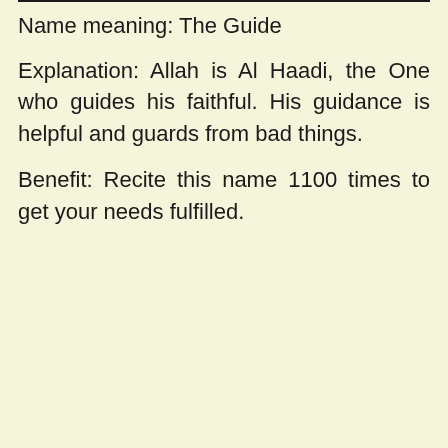Name meaning: The Guide
Explanation: Allah is Al Haadi, the One who guides his faithful. His guidance is helpful and guards from bad things.
Benefit: Recite this name 1100 times to get your needs fulfilled.